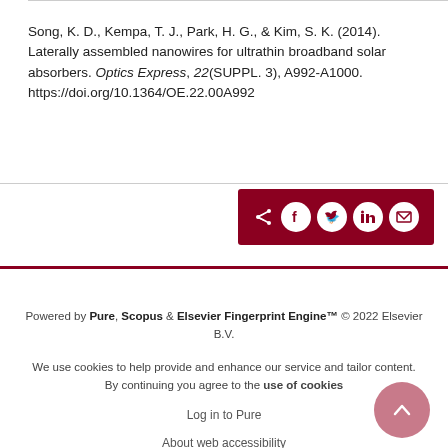Song, K. D., Kempa, T. J., Park, H. G., & Kim, S. K. (2014). Laterally assembled nanowires for ultrathin broadband solar absorbers. Optics Express, 22(SUPPL. 3), A992-A1000. https://doi.org/10.1364/OE.22.00A992
[Figure (other): Social share bar with icons for share, Facebook, Twitter, LinkedIn, and email on a dark red background]
Powered by Pure, Scopus & Elsevier Fingerprint Engine™ © 2022 Elsevier B.V.
We use cookies to help provide and enhance our service and tailor content. By continuing you agree to the use of cookies
Log in to Pure
About web accessibility